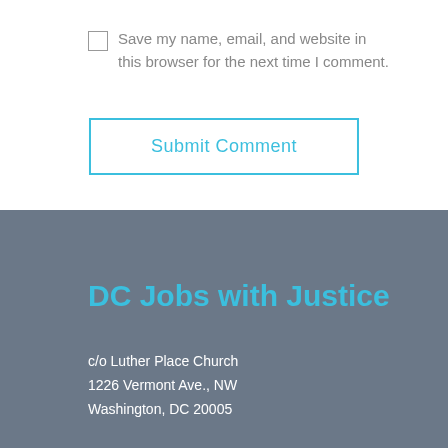Save my name, email, and website in this browser for the next time I comment.
Submit Comment
DC Jobs with Justice
c/o Luther Place Church
1226 Vermont Ave., NW
Washington, DC 20005